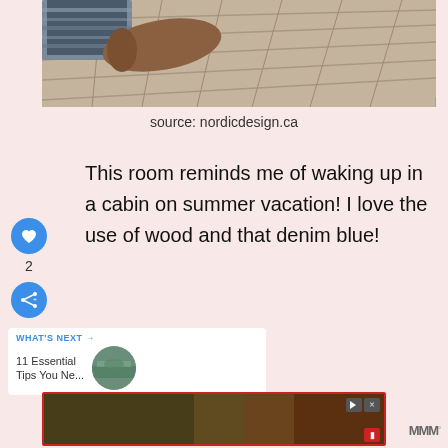[Figure (photo): Photo of wooden deck/floor planks with fabric/textile item in upper left corner]
source: nordicdesign.ca
This room reminds me of waking up in a cabin on summer vacation!  I love the use of wood and that denim blue!
[Figure (screenshot): What's Next widget showing link to '11 Essential Tips You Ne...' with circular thumbnail image]
[Figure (screenshot): Advertisement banner at bottom of page with red border, dark background with outdoor image, playback controls, and recording button]